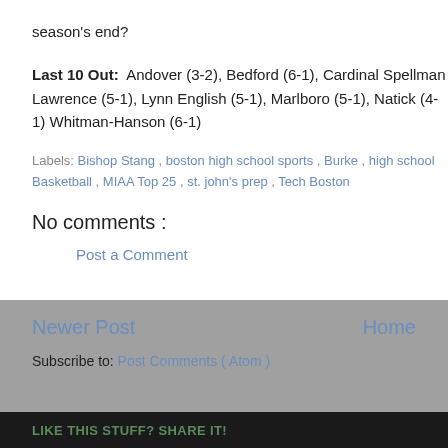season's end?
Last 10 Out: Andover (3-2), Bedford (6-1), Cardinal Spellman Lawrence (5-1), Lynn English (5-1), Marlboro (5-1), Natick (4-1) Whitman-Hanson (6-1)
Labels: Bishop Stang , boston high school sports , Burke , high school Basketball , MIAA Top 25 , st. john's prep , Tech Boston
No comments :
Post a Comment
Newer Post
Home
Subscribe to: Post Comments ( Atom )
LIKE THIS STUFF? SHARE IT!